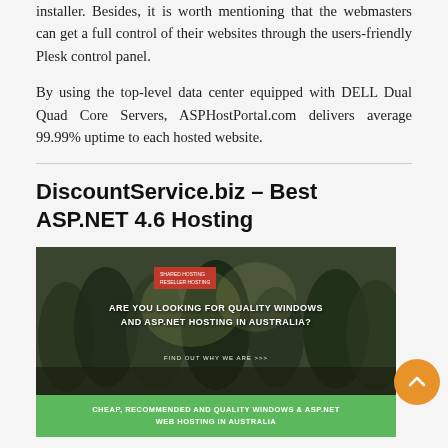installer. Besides, it is worth mentioning that the webmasters can get a full control of their websites through the users-friendly Plesk control panel.
By using the top-level data center equipped with DELL Dual Quad Core Servers, ASPHostPortal.com delivers average 99.99% uptime to each hosted website.
DiscountService.biz – Best ASP.NET 4.6 Hosting
[Figure (screenshot): Screenshot of DiscountService.biz website showing navigation bar, hero image with text 'ARE YOU LOOKING FOR QUALITY WINDOWS AND ASP.NET HOSTING IN AUSTRALIA?' and green footer bar with text 'CHEAP, RECOMMENDED AND QUALITY WINDOWS & ASP.NET WEB HOSTING IN AUSTRALIA']